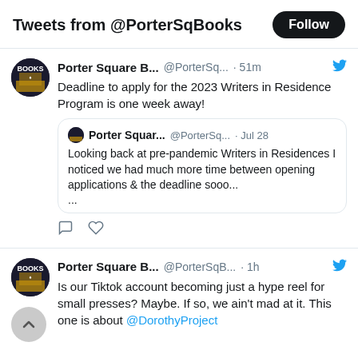Tweets from @PorterSqBooks
Porter Square B... @PorterSq... · 51m
Deadline to apply for the 2023 Writers in Residence Program is one week away!
Porter Squar... @PorterSq... · Jul 28
Looking back at pre-pandemic Writers in Residences I noticed we had much more time between opening applications & the deadline sooo...
...
Porter Square B... @PorterSqB... · 1h
Is our Tiktok account becoming just a hype reel for small presses? Maybe. If so, we ain't mad at it. This one is about @DorothyProject